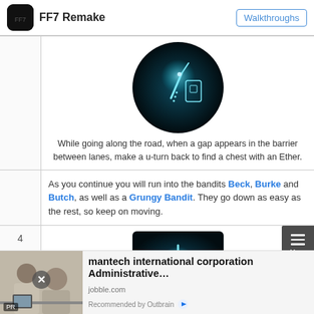FF7 Remake | Walkthroughs
[Figure (screenshot): Circular screenshot of FF7 Remake in-game item, glowing blue sword/key item on dark background]
While going along the road, when a gap appears in the barrier between lanes, make a u-turn back to find a chest with an Ether.
As you continue you will run into the bandits Beck, Burke and Butch, as well as a Grungy Bandit. They go down as easy as the rest, so keep on moving.
[Figure (screenshot): Circular screenshot of FF7 Remake in-game item on dark background, glowing blue figure]
[Figure (photo): Advertisement photo showing two people at a desk, PR badge, close button overlay]
mantech international corporation Administrative…
jobble.com
Recommended by Outbrain